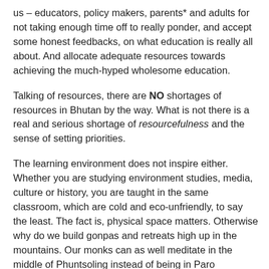us – educators, policy makers, parents* and adults for not taking enough time off to really ponder, and accept some honest feedbacks, on what education is really all about. And allocate adequate resources towards achieving the much-hyped wholesome education.
Talking of resources, there are NO shortages of resources in Bhutan by the way. What is not there is a real and serious shortage of resourcefulness and the sense of setting priorities.
The learning environment does not inspire either. Whether you are studying environment studies, media, culture or history, you are taught in the same classroom, which are cold and eco-unfriendly, to say the least. The fact is, physical space matters. Otherwise why do we build gonpas and retreats high up in the mountains. Our monks can as well meditate in the middle of Phuntsoling instead of being in Paro Taktsang. I wish instead of building Dzongs that do no emanate any spirituality, we build educational dzongs to make learning more inspirational.